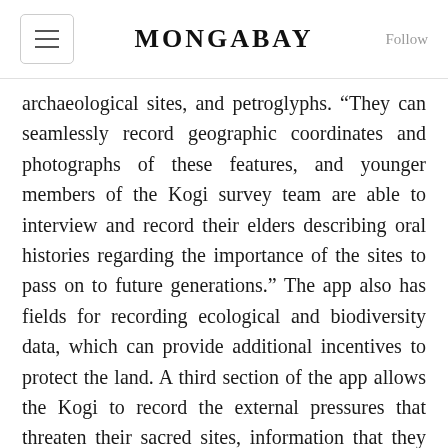MONGABAY
archaeological sites, and petroglyphs. “They can seamlessly record geographic coordinates and photographs of these features, and younger members of the Kogi survey team are able to interview and record their elders describing oral histories regarding the importance of the sites to pass on to future generations.” The app also has fields for recording ecological and biodiversity data, which can provide additional incentives to protect the land. A third section of the app allows the Kogi to record the external pressures that threaten their sacred sites, information that they can then bring to local